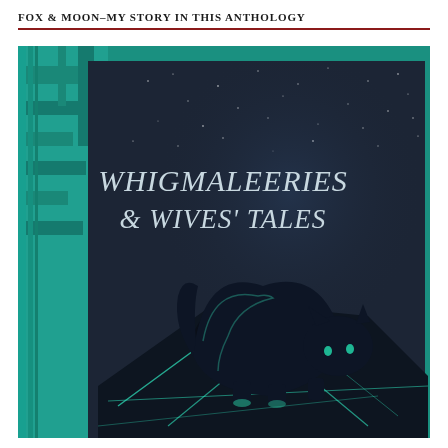FOX & MOON–MY STORY IN THIS ANTHOLOGY
[Figure (illustration): Book cover of 'Whigmaleeries & Wives' Tales' anthology. The cover features a dark fantasy illustration of a sleek black cat arched on a glowing geometric surface, against a deep starry night sky. The left side has a teal/turquoise Art Deco stepped architectural border. The title text 'WHIGMALEERIES & WIVES' TALES' appears in elegant silver serif lettering near the top of the cover.]